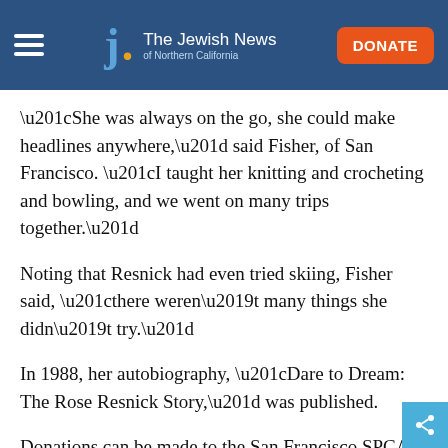The Jewish News of Northern California
“She was always on the go, she could make headlines anywhere,” said Fisher, of San Francisco. “I taught her knitting and crocheting and bowling, and we went on many trips together.”
Noting that Resnick had even tried skiing, Fisher said, “there weren’t many things she didn’t try.”
In 1988, her autobiography, “Dare to Dream: The Rose Resnick Story,” was published.
Donations can be made to the San Francisco SPCA, 2500 16th St., San Francisco, CA 94103-4213.